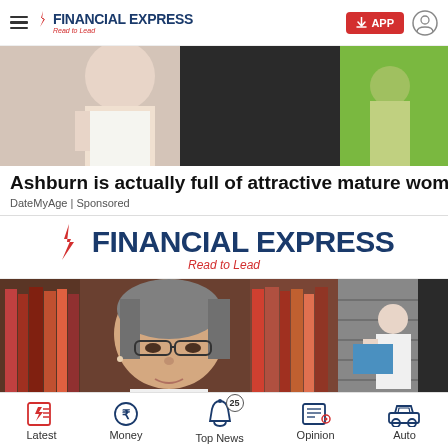FINANCIAL EXPRESS — Read to Lead
[Figure (photo): Advertisement banner image showing a woman against a colorful background]
Ashburn is actually full of attractive mature women
DateMyAge | Sponsored
[Figure (logo): Financial Express logo large — Read to Lead]
[Figure (photo): Two news article thumbnail photos: a woman with glasses in front of bookshelves, and a person near a building]
Latest | Money | Top News (25) | Opinion | Auto